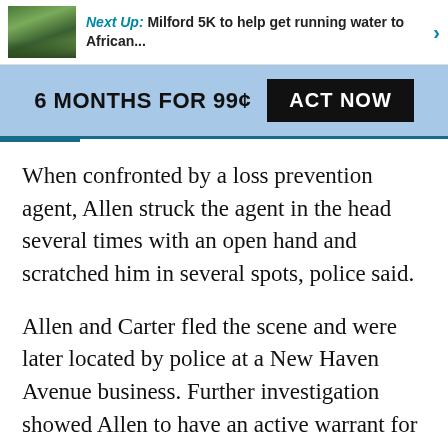Next Up: Milford 5K to help get running water to African...
6 MONTHS FOR 99¢  ACT NOW
When confronted by a loss prevention agent, Allen struck the agent in the head several times with an open hand and scratched him in several spots, police said.
Allen and Carter fled the scene and were later located by police at a New Haven Avenue business. Further investigation showed Allen to have an active warrant for her arrest in regard to a failure to appear charge out of New Haven